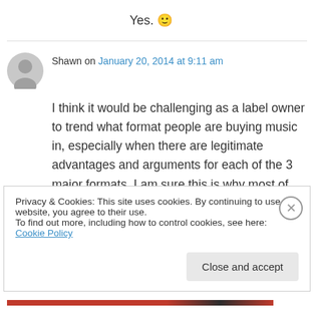Yes. 🙂
Shawn on January 20, 2014 at 9:11 am
I think it would be challenging as a label owner to trend what format people are buying music in, especially when there are legitimate advantages and arguments for each of the 3 major formats. I am sure this is why most of the bigger labels release many albums in vinyl, cd, and mp3. For
Privacy & Cookies: This site uses cookies. By continuing to use this website, you agree to their use.
To find out more, including how to control cookies, see here: Cookie Policy